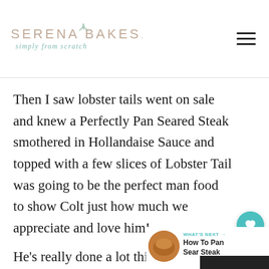Serena Bakes simply from scratch
Then I saw lobster tails went on sale and knew a Perfectly Pan Seared Steak smothered in Hollandaise Sauce and topped with a few slices of Lobster Tail was going to be the perfect man food to show Colt just how much we appreciate and love him!
He's really done a lot this last year doing many of the things I've been
[Figure (infographic): What's Next widget with thumbnail image and text: How To Pan Sear Steak]